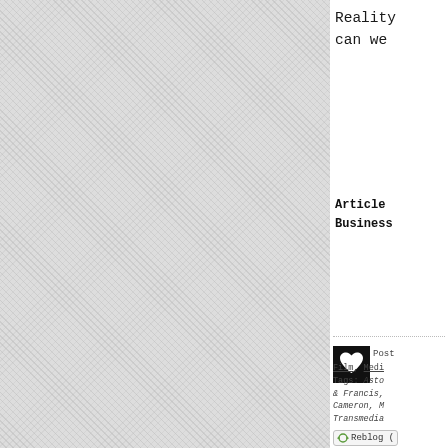[Figure (screenshot): Left panel with grey hatched/crosshatch background texture, representing a sidebar or decorative panel area]
Reality can we
Article Business
[Figure (logo): The Better Mousetrap blog logo: black square with white heart shape]
Posted in Film, Medi: Tags: Asto & Francis, Cameron, Transmedia
Reblog (
NOVEMBER
WHILE
[Figure (photo): Dark photo, appears to be fur or animal texture]